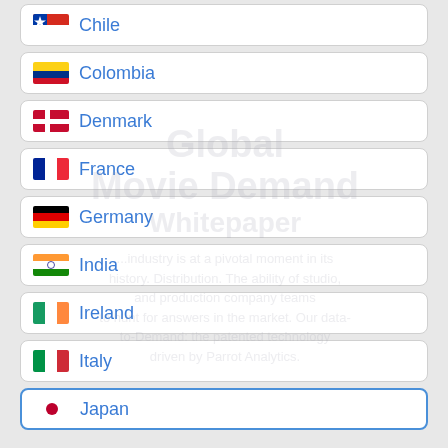Chile
Colombia
Denmark
France
Germany
India
Ireland
Italy
Japan